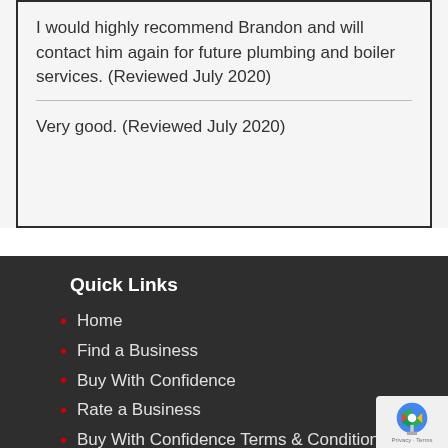I would highly recommend Brandon and will contact him again for future plumbing and boiler services. (Reviewed July 2020)
Very good. (Reviewed July 2020)
Quick Links
Home
Find a Business
Buy With Confidence
Rate a Business
Buy With Confidence Terms & Conditions